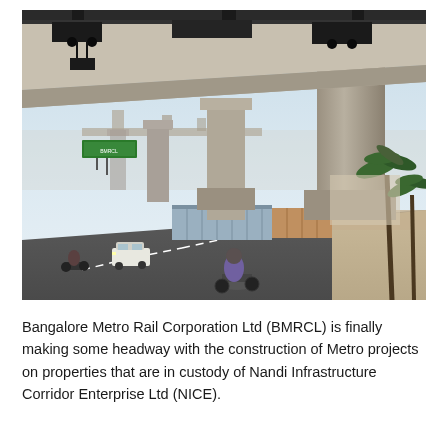[Figure (photo): Construction of elevated metro rail viaduct under construction, showing large concrete pillars and girder launching equipment on top of the viaduct. Road with vehicles visible below, including a motorcyclist in foreground and cars. Palm trees and construction barriers visible. Outdoor daytime scene in Bangalore, India.]
Bangalore Metro Rail Corporation Ltd (BMRCL) is finally making some headway with the construction of Metro projects on properties that are in custody of Nandi Infrastructure Corridor Enterprise Ltd (NICE).